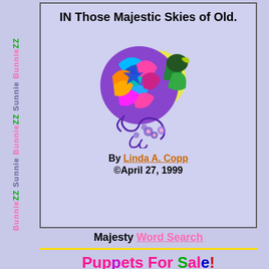[Figure (illustration): Vertical repeating text strip on left side of page reading 'BunnieZZ Sunnie BunnieZZ Sunnie BunnieZZ' in alternating pink and green colors, rotated vertically]
IN Those Majestic Skies of Old.
[Figure (illustration): Colorful stylized bird illustration with peacock-like body in purple, green, blue, pink and teal colors, perched on a branch with purple flowers, with a yellow moon/sun behind it]
By Linda A. Copp ©April 27, 1999
Majesty Word Search
Puppets For Sale!